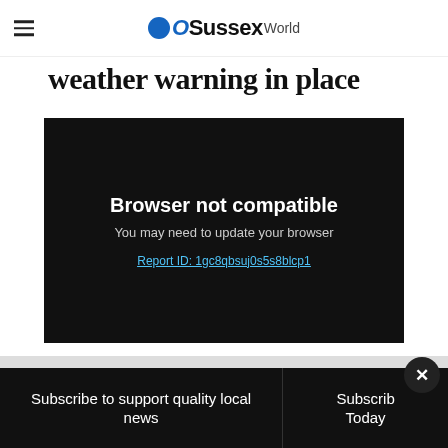OSussexWorld
weather warning in place
[Figure (screenshot): Video player error screen showing 'Browser not compatible. You may need to update your browser. Report ID: 1gc8qbsuj0s5s8blcp1' on a black background.]
An amber weather warning has been issued for south-west England.
Subscribe to support quality local news | Subscribe Today